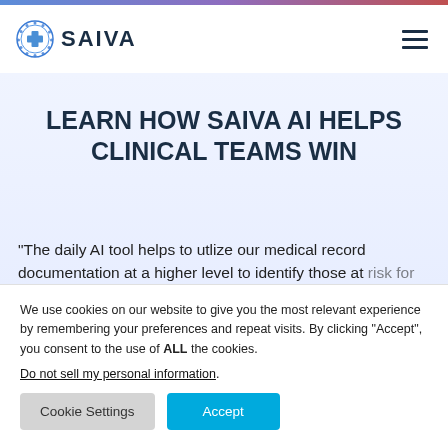[Figure (logo): SAIVA logo with circular blue medical cross icon and bold dark text SAIVA]
LEARN HOW SAIVA AI HELPS CLINICAL TEAMS WIN
“The daily AI tool helps to utlize our medical record documentation at a higher level to identify those at risk for those potential occurrences and address
We use cookies on our website to give you the most relevant experience by remembering your preferences and repeat visits. By clicking “Accept”, you consent to the use of ALL the cookies.
Do not sell my personal information.